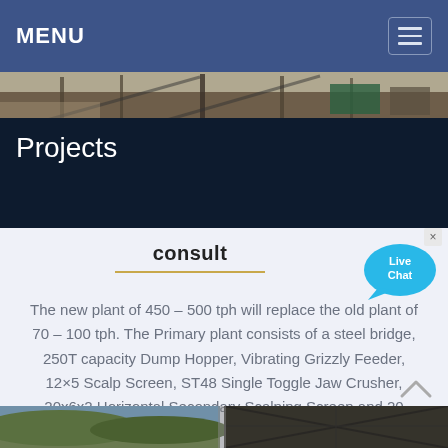MENU
[Figure (photo): Industrial quarry or mining plant equipment — conveyor belts and machinery seen from above]
Projects
consult
The new plant of 450 – 500 tph will replace the old plant of 70 – 100 tph. The Primary plant consists of a steel bridge, 250T capacity Dump Hopper, Vibrating Grizzly Feeder, 12×5 Scalp Screen, ST48 Single Toggle Jaw Crusher, 20x6x2 Horizontal Secondary Scalping Screen and 20 metre...
[Figure (photo): Live Chat button overlay — speech bubble graphic with 'Live Chat' text]
[Figure (photo): Bottom image strip showing outdoor quarry/mining site and industrial steel structure]